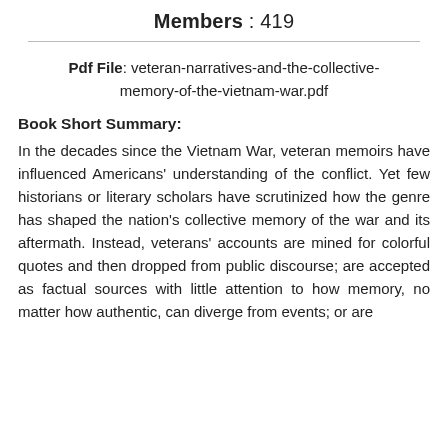Members : 419
Pdf File: veteran-narratives-and-the-collective-memory-of-the-vietnam-war.pdf
Book Short Summary:
In the decades since the Vietnam War, veteran memoirs have influenced Americans' understanding of the conflict. Yet few historians or literary scholars have scrutinized how the genre has shaped the nation's collective memory of the war and its aftermath. Instead, veterans' accounts are mined for colorful quotes and then dropped from public discourse; are accepted as factual sources with little attention to how memory, no matter how authentic, can diverge from events; or are